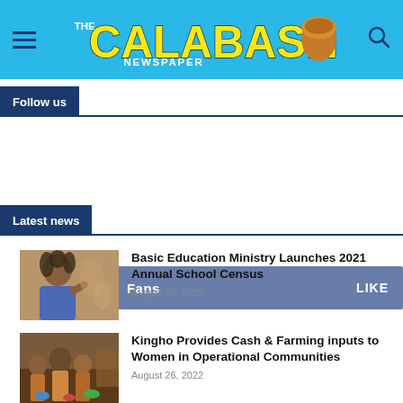The Calabash Newspaper
Follow us
f  43,241  Fans  LIKE
Latest news
[Figure (photo): Photo of a man with dreadlocks gesturing while speaking]
Basic Education Ministry Launches 2021 Annual School Census
August 26, 2022
[Figure (photo): Photo of women gathered together outdoors]
Kingho Provides Cash & Farming inputs to Women in Operational Communities
August 26, 2022